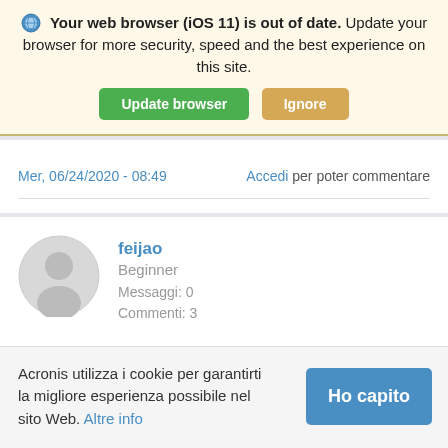Your web browser (iOS 11) is out of date. Update your browser for more security, speed and the best experience on this site.
Update browser | Ignore
Mer, 06/24/2020 - 08:49
Accedi per poter commentare
[Figure (illustration): User avatar placeholder - grey circle with silhouette]
feijao
Beginner
Messaggi: 0
Commenti: 3
Acronis utilizza i cookie per garantirti la migliore esperienza possibile nel sito Web. Altre info
Ho capito